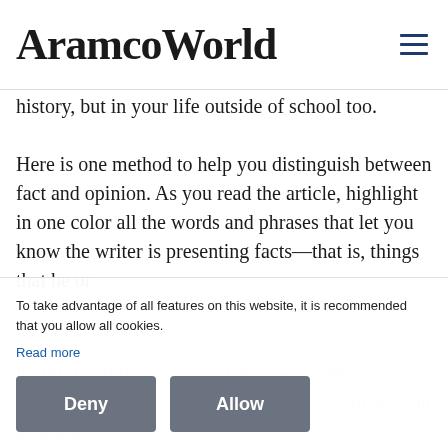AramcoWorld
history, but in your life outside of school too.
Here is one method to help you distinguish between fact and opinion. As you read the article, highlight in one color all the words and phrases that let you know the writer is presenting facts—that is, things that he or
highlight all the words and phrases … let you know that the writer is … preting. Here is a … rticle as an example.
To take advantage of all features on this website, it is recommended that you allow all cookies.
Read more
Deny
Allow